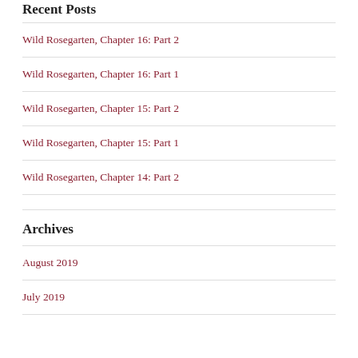Recent Posts
Wild Rosegarten, Chapter 16: Part 2
Wild Rosegarten, Chapter 16: Part 1
Wild Rosegarten, Chapter 15: Part 2
Wild Rosegarten, Chapter 15: Part 1
Wild Rosegarten, Chapter 14: Part 2
Archives
August 2019
July 2019